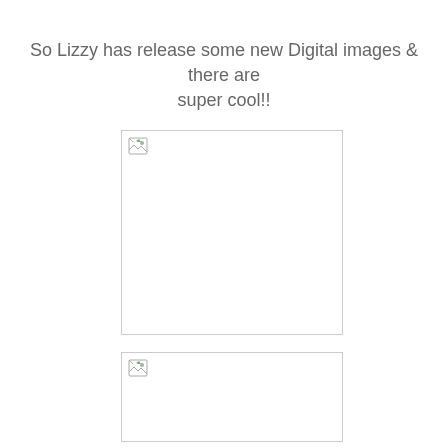So Lizzy has release some new Digital images & there are super cool!!
[Figure (photo): Broken/missing image placeholder (first image)]
[Figure (photo): Broken/missing image placeholder (second image, partially visible)]